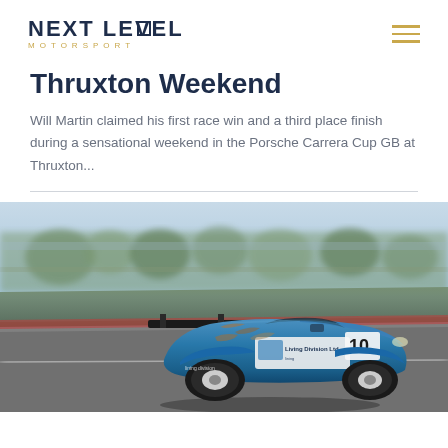NEXT LEVEL MOTORSPORT
Thruxton Weekend
Will Martin claimed his first race win and a third place finish during a sensational weekend in the Porsche Carrera Cup GB at Thruxton...
[Figure (photo): Blue Porsche 911 GT3 Cup car number 10 with Living Division Ltd sponsorship, racing on track at Thruxton, motion blur in background suggesting high speed]